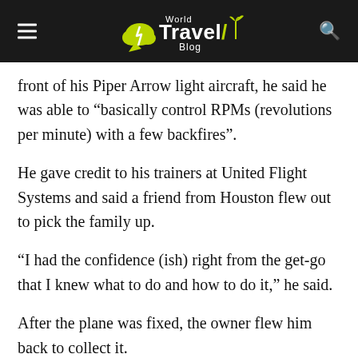World Travel Blog
front of his Piper Arrow light aircraft, he said he was able to “basically control RPMs (revolutions per minute) with a few backfires”.
He gave credit to his trainers at United Flight Systems and said a friend from Houston flew out to pick the family up.
“I had the confidence (ish) right from the get-go that I knew what to do and how to do it,” he said.
After the plane was fixed, the owner flew him back to collect it.